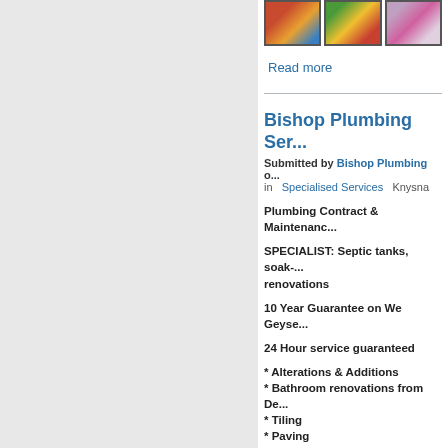[Figure (photo): Three thumbnail images in a row showing colorful illustrations]
Read more
Bishop Plumbing Ser...
Submitted by Bishop Plumbing o... in Specialised Services  Knysna
Plumbing Contract & Maintenanc...

SPECIALIST: Septic tanks, soak-... renovations

10 Year Guarantee on We Geyse...

24 Hour service guaranteed

* Alterations & Additions
* Bathroom renovations from De...
* Tiling
* Paving

Bishop Plumbing Service - Plum...
[Figure (photo): Two thumbnail images showing plumbing-related photos]